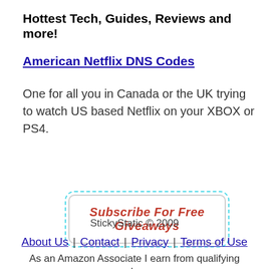Hottest Tech, Guides, Reviews and more!
American Netflix DNS Codes
One for all you in Canada or the UK trying to watch US based Netflix on your XBOX or PS4.
[Figure (other): Subscribe For Free Giveaways button with dashed cyan border]
StickyStatic © 2009
About Us | Contact | Privacy | Terms of Use
As an Amazon Associate I earn from qualifying purchases